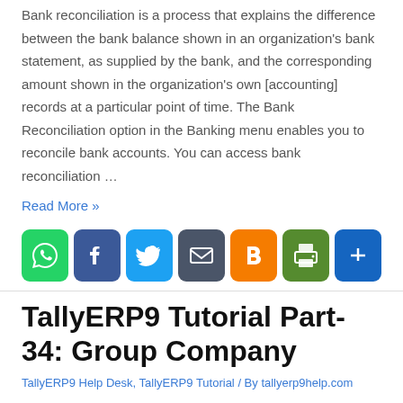Bank reconciliation is a process that explains the difference between the bank balance shown in an organization's bank statement, as supplied by the bank, and the corresponding amount shown in the organization's own [accounting] records at a particular point of time. The Bank Reconciliation option in the Banking menu enables you to reconcile bank accounts. You can access bank reconciliation …
Read More »
[Figure (other): Social share icons row: WhatsApp (green), Facebook (blue), Twitter (light blue), Email (dark gray), Blogger (orange), Print (dark green), Share/More (dark blue)]
TallyERP9 Tutorial Part-34: Group Company
TallyERP9 Help Desk, TallyERP9 Tutorial / By tallyerp9help.com
You can create a group company in Tally ERP 9 to conveniently